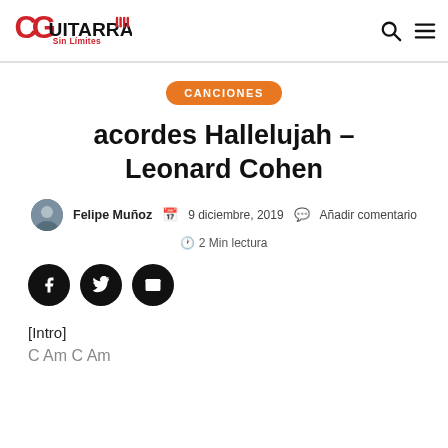Guitarra Sin Limites
CANCIONES
acordes Hallelujah – Leonard Cohen
Felipe Muñoz  9 diciembre, 2019  Añadir comentario
2 Min lectura
[Figure (illustration): Social share buttons: Facebook, Twitter, Email]
[Intro]
C Am C Am